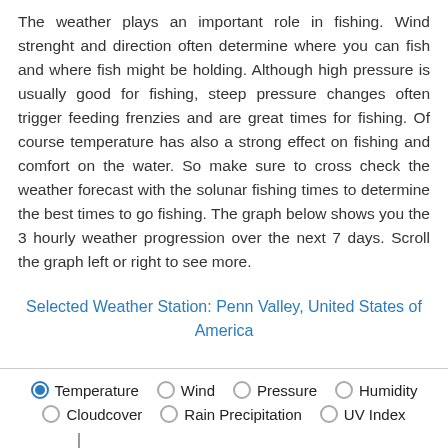The weather plays an important role in fishing. Wind strenght and direction often determine where you can fish and where fish might be holding. Although high pressure is usually good for fishing, steep pressure changes often trigger feeding frenzies and are great times for fishing. Of course temperature has also a strong effect on fishing and comfort on the water. So make sure to cross check the weather forecast with the solunar fishing times to determine the best times to go fishing. The graph below shows you the 3 hourly weather progression over the next 7 days. Scroll the graph left or right to see more.
Selected Weather Station: Penn Valley, United States of America
Temperature (selected), Wind, Pressure, Humidity, Cloudcover, Rain Precipitation, UV Index